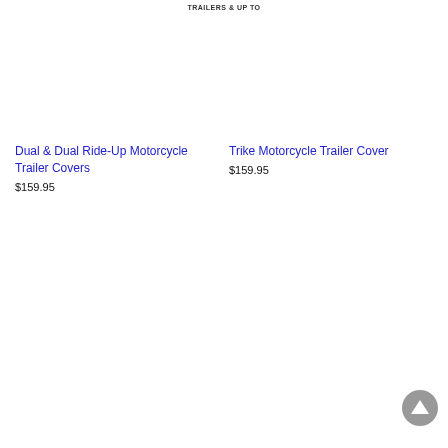TRAILERS & UP TO
Dual & Dual Ride-Up Motorcycle Trailer Covers
$159.95
Trike Motorcycle Trailer Cover
$159.95